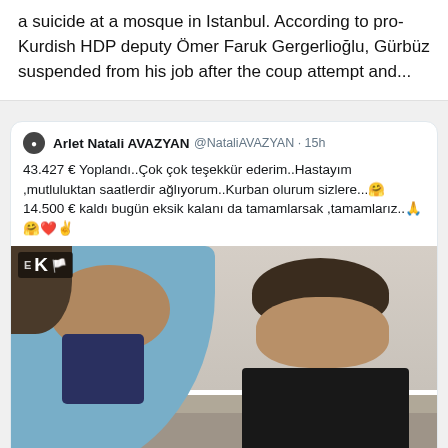a suicide at a mosque in Istanbul. According to pro-Kurdish HDP deputy Ömer Faruk Gergerlioğlu, Gürbüz suspended from his job after the coup attempt and...
[Figure (screenshot): Screenshot of a tweet by Arlet Natali AVAZYAN (@NataliAVAZYAN) posted 15h ago. Tweet text in Turkish: 43.427 € Yoplandı..Çok çok teşekkür ederim..Hastayım ,mutluluktan saatlerdir ağlıyorum..Kurban olurum sizlere...🤗 14.500 € kaldı bugün eksik kalanı da tamamlarsak ,tamamlarız..🙏🤗❤️✌️ — with an attached image showing a woman in a blue hijab and a young bald child sitting on a sofa. A watermark with 'EK' and a flag emoji is visible in the top-left corner of the photo.]